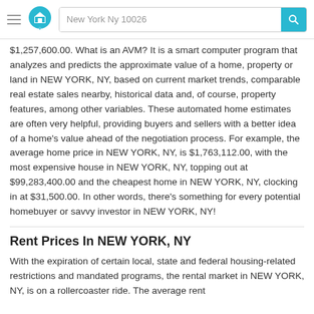New York Ny 10026
$1,257,600.00. What is an AVM? It is a smart computer program that analyzes and predicts the approximate value of a home, property or land in NEW YORK, NY, based on current market trends, comparable real estate sales nearby, historical data and, of course, property features, among other variables. These automated home estimates are often very helpful, providing buyers and sellers with a better idea of a home’s value ahead of the negotiation process. For example, the average home price in NEW YORK, NY, is $1,763,112.00, with the most expensive house in NEW YORK, NY, topping out at $99,283,400.00 and the cheapest home in NEW YORK, NY, clocking in at $31,500.00. In other words, there’s something for every potential homebuyer or savvy investor in NEW YORK, NY!
Rent Prices In NEW YORK, NY
With the expiration of certain local, state and federal housing-related restrictions and mandated programs, the rental market in NEW YORK, NY, is on a rollercoaster ride. The average rent